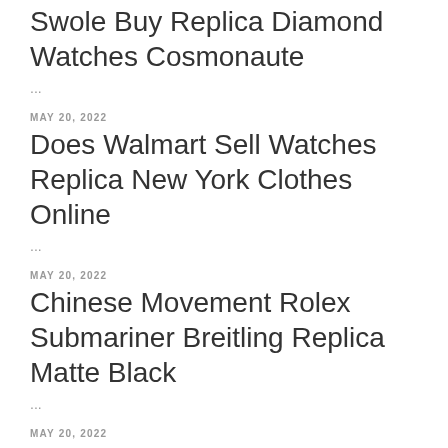Swole Buy Replica Diamond Watches Cosmonaute
...
MAY 20, 2022
Does Walmart Sell Watches Replica New York Clothes Online
...
MAY 20, 2022
Chinese Movement Rolex Submariner Breitling Replica Matte Black
...
MAY 20, 2022